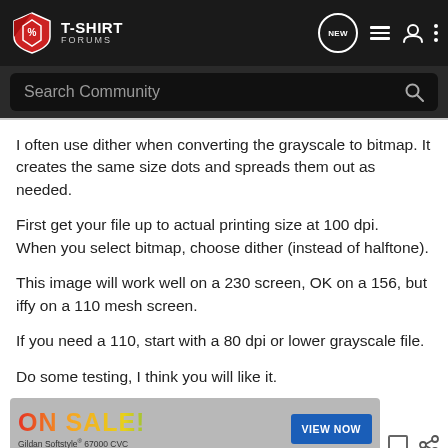T-SHIRT FORUMS
I often use dither when converting the grayscale to bitmap. It creates the same size dots and spreads them out as needed.
First get your file up to actual printing size at 100 dpi. When you select bitmap, choose dither (instead of halftone).
This image will work well on a 230 screen, OK on a 156, but iffy on a 110 mesh screen.
If you need a 110, start with a 80 dpi or lower grayscale file.
Do some testing, I think you will like it.
[Figure (other): Advertisement banner: ON SALE! Gildan Softstyle 67000 CVC with VIEW NOW button]